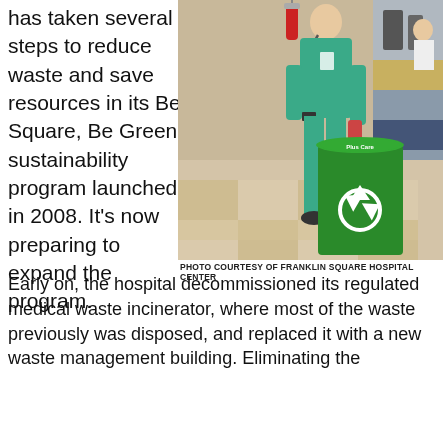has taken several steps to reduce waste and save resources in its Be Square, Be Green sustainability program launched in 2008. It's now preparing to expand the program.
[Figure (photo): A healthcare worker in green scrubs standing next to a large green recycling bin with the recycle symbol on it, in a hospital corridor.]
PHOTO COURTESY OF FRANKLIN SQUARE HOSPITAL CENTER
Early on, the hospital decommissioned its regulated medical waste incinerator, where most of the waste previously was disposed, and replaced it with a new waste management building. Eliminating the